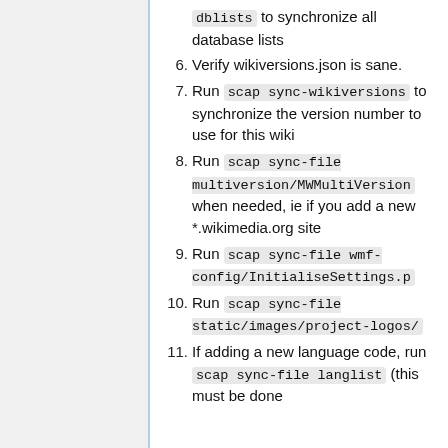dblists to synchronize all database lists
6. Verify wikiversions.json is sane.
7. Run scap sync-wikiversions to synchronize the version number to use for this wiki
8. Run scap sync-file multiversion/MWMultiVersion when needed, ie if you add a new *.wikimedia.org site
9. Run scap sync-file wmf-config/InitialiseSettings.p
10. Run scap sync-file static/images/project-logos/
11. If adding a new language code, run scap sync-file langlist (this must be done